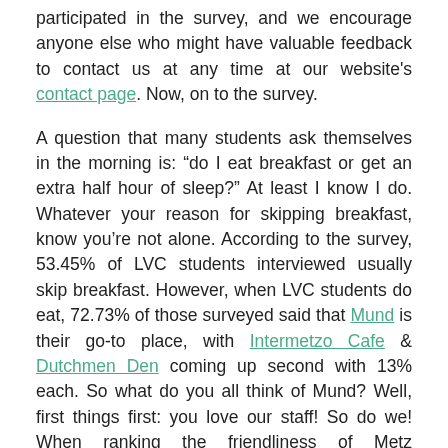participated in the survey, and we encourage anyone else who might have valuable feedback to contact us at any time at our website's contact page. Now, on to the survey.
A question that many students ask themselves in the morning is: “do I eat breakfast or get an extra half hour of sleep?” At least I know I do. Whatever your reason for skipping breakfast, know you’re not alone. According to the survey, 53.45% of LVC students interviewed usually skip breakfast. However, when LVC students do eat, 72.73% of those surveyed said that Mund is their go-to place, with Intermetzo Cafe & Dutchmen Den coming up second with 13% each. So what do you all think of Mund? Well, first things first: you love our staff! So do we! When ranking the friendliness of Metz employees,